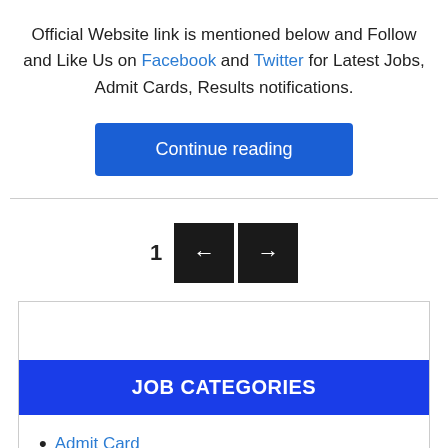Official Website link is mentioned below and Follow and Like Us on Facebook and Twitter for Latest Jobs, Admit Cards, Results notifications.
Continue reading
1
JOB CATEGORIES
Admit Card